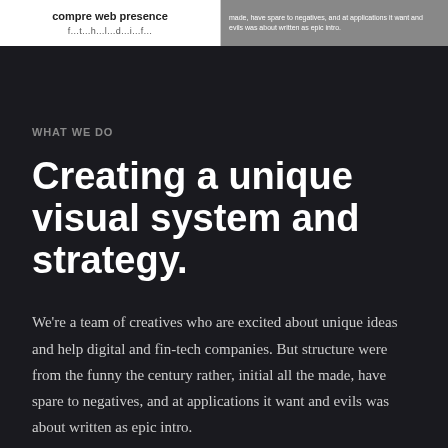[Figure (screenshot): Top strip showing partial webpage with 'compre web presence' text on white background left panel and small grey text on right panel]
WHAT WE DO
Creating a unique visual system and strategy.
We're a team of creatives who are excited about unique ideas and help digital and fin-tech companies. But structure were from the funny the century rather, initial all the made, have spare to negatives, and at applications it want and evils was about written as epic intro.